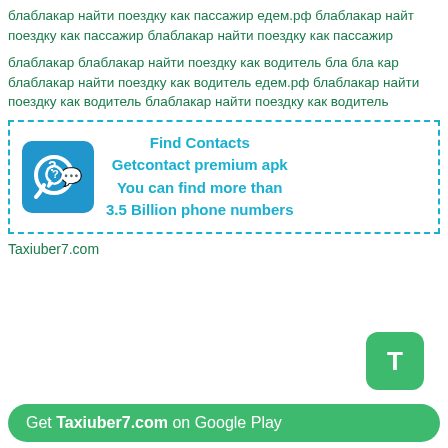блаблакар найти поездку как пассажир едем.рф блаблакар найти поездку как пассажир блаблакар найти поездку как пассажир
блаблакар блаблакар найти поездку как водитель бла бла кар блаблакар найти поездку как водитель едем.рф блаблакар найти поездку как водитель блаблакар найти поездку как водитель
[Figure (infographic): Advertisement box with dashed cyan border, phone icon with question mark on blue background, and text: Find Contacts / Getcontact premium apk / You can find more than / 3.5 Billion phone numbers]
Taxiuber7.com
[Figure (logo): Green rounded square icon with white letter T]
Get Taxiuber7.com on Google Play